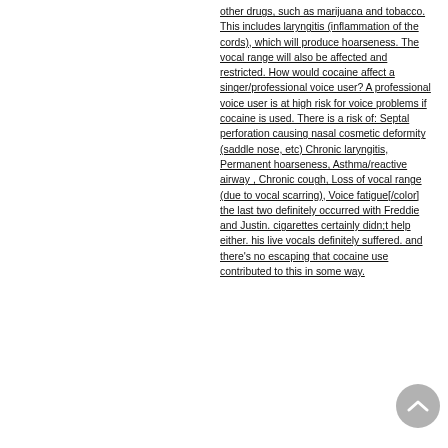other drugs, such as marijuana and tobacco. This includes laryngitis (inflammation of the cords), which will produce hoarseness. The vocal range will also be affected and restricted. How would cocaine affect a singer/professional voice user? A professional voice user is at high risk for voice problems if cocaine is used. There is a risk of: Septal perforation causing nasal cosmetic deformity (saddle nose, etc) Chronic laryngitis, Permanent hoarseness, Asthma/reactive airway , Chronic cough, Loss of vocal range (due to vocal scarring), Voice fatigue[/color] the last two definitely occurred with Freddie and Justin. cigarettes certainly didn;t help either. his live vocals definitely suffered. and there's no escaping that cocaine use contributed to this in some way.